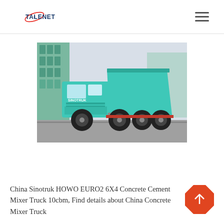TALENET
[Figure (photo): Teal/turquoise Sinotruk HOWO dump truck parked in front of a modern building with green glass facade]
China Sinotruk HOWO EURO2 6X4 Concrete Cement Mixer Truck 10cbm, Find details about China Concrete Mixer Truck